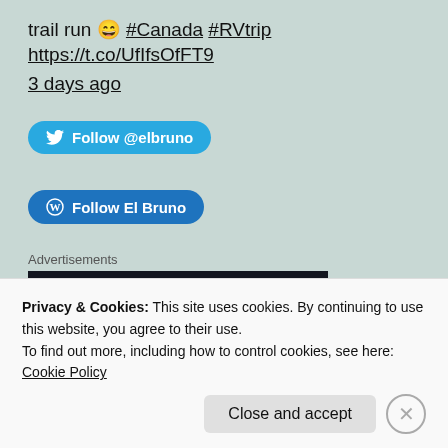trail run 😄 #Canada #RVtrip https://t.co/UfIfsOfFT9
3 days ago
Follow @elbruno
Follow El Bruno
Advertisements
[Figure (screenshot): Dark advertisement banner with teal text reading 'Turn your blog']
Privacy & Cookies: This site uses cookies. By continuing to use this website, you agree to their use.
To find out more, including how to control cookies, see here: Cookie Policy
Close and accept